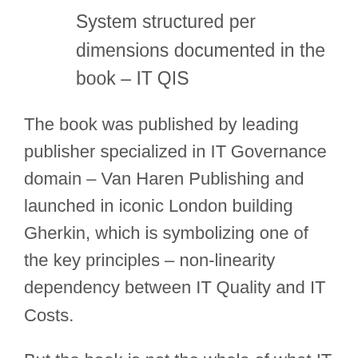System structured per dimensions documented in the book – IT QIS
The book was published by leading publisher specialized in IT Governance domain – Van Haren Publishing and launched in iconic London building Gherkin, which is symbolizing one of the key principles – non-linearity dependency between IT Quality and IT Costs.
But the book is not the whole of what IT QUALITY INDEX is. Over almost three years of using and constant feedback the whole framework emerged: